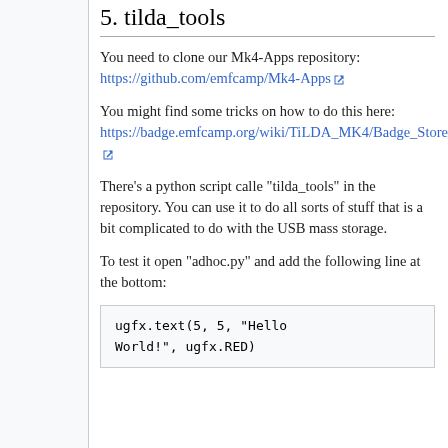5. tilda_tools
You need to clone our Mk4-Apps repository:
https://github.com/emfcamp/Mk4-Apps
You might find some tricks on how to do this here:
https://badge.emfcamp.org/wiki/TiLDA_MK4/Badge_Store_Submissions#Submitting_your_badge_app_to_the_official_badge_store
There's a python script calle "tilda_tools" in the repository. You can use it to do all sorts of stuff that is a bit complicated to do with the USB mass storage.
To test it open "adhoc.py" and add the following line at the bottom:
ugfx.text(5, 5, "Hello World!", ugfx.RED)